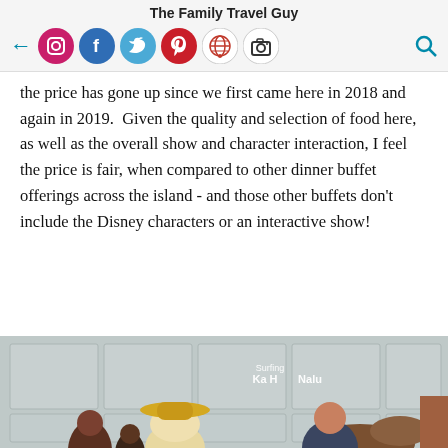The Family Travel Guy
the price has gone up since we first came here in 2018 and again in 2019.  Given the quality and selection of food here, as well as the overall show and character interaction, I feel the price is fair, when compared to other dinner buffet offerings across the island - and those other buffets don't include the Disney characters or an interactive show!
[Figure (photo): Family photo with Disney character (Stitch) inside the Aulani resort, with text overlay reading 'Surfing Ka Honu Nalu']